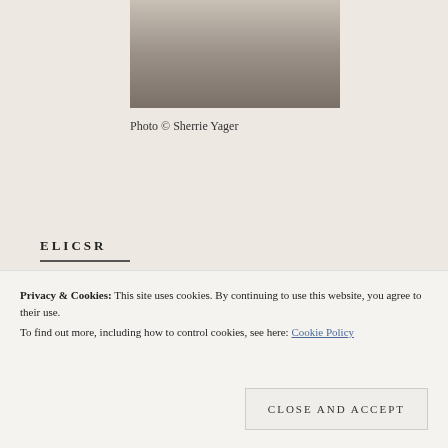[Figure (photo): Partial photo showing legs/feet of a person on pavement, cropped at top]
Photo © Sherrie Yager
ELICSR
[Figure (photo): Top portion of a person's head with dark hair, close-up photo]
[Figure (photo): Partial photo showing colorful image at bottom of page]
Privacy & Cookies: This site uses cookies. By continuing to use this website, you agree to their use.
To find out more, including how to control cookies, see here: Cookie Policy
Close and accept